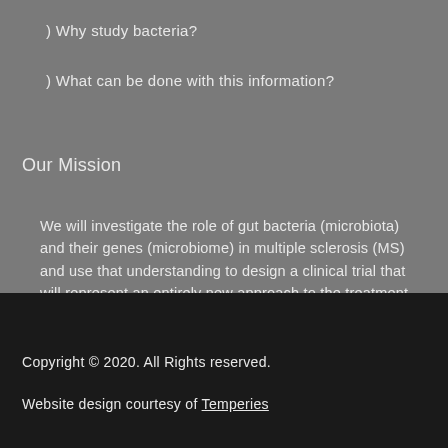) Why study bacteria?
) What can be done with this information?
Our Mission
We will investigate the role of gut bacteria (microbiota) and their genes (microbiome) in multiple sclerosis (MS) and use that understanding to design a clinical trial that will represent an entirely new approach to the treatment of multiple sclerosis.
Copyright © 2020. All Rights reserved.
Website design courtesy of Temperies